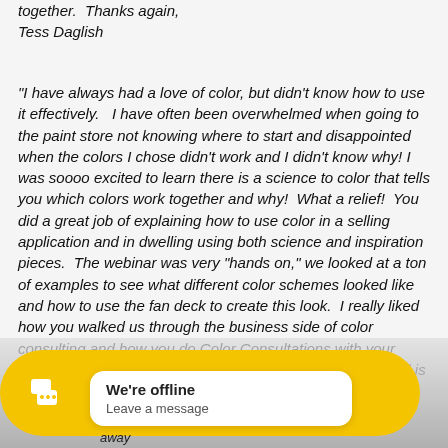together. Thanks again, Tess Daglish
“I have always had a love of color, but didn’t know how to use it effectively.   I have often been overwhelmed when going to the paint store not knowing where to start and disappointed when the colors I chose didn’t work and I didn’t know why! I was soooo excited to learn there is a science to color that tells you which colors work together and why!  What a relief!  You did a great job of explaining how to use color in a selling application and in dwelling using both science and inspiration pieces.  The webinar was very “hands on,” we looked at a ton of examples to see what different color schemes looked like and how to use the fan deck to create this look.  I really liked how you walked us through the business side of color consulting and how you do Color Consultations with your clients.  This course has given me so much confidence and is such a great addition to my staging
[Figure (screenshot): Chat widget overlay at bottom of page. Yellow pill-shaped background with circular yellow icon showing white chat bubbles. White popup box saying 'We're offline / Leave a message'. Bottom text partially visible.]